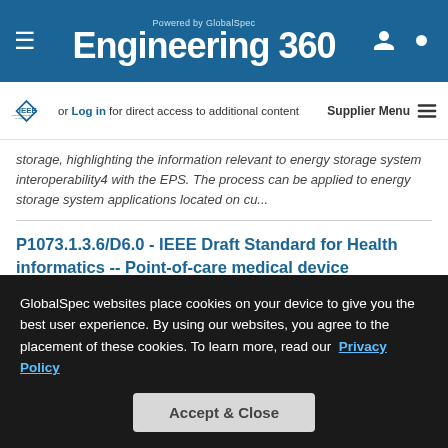Powered by GlobalSpec Engineering 360
[Figure (logo): IEEE Advancing Technology for Humanity logo]
or Log in for direct access to additional content  Supplier Menu
storage, highlighting the information relevant to energy storage system interoperability4 with the EPS. The process can be applied to energy storage system applications located on cu...
P1073.1.3.6/D6.0 - IEEE Draft Standard for Health informatics -- Point-of-care medical device communication -- Device specialization - ECG monitoring
January 1, 1999 - IEEE - Institute of Electrical and
GlobalSpec websites place cookies on your device to give you the best user experience. By using our websites, you agree to the placement of these cookies. To learn more, read our Privacy Policy
Accept & Close